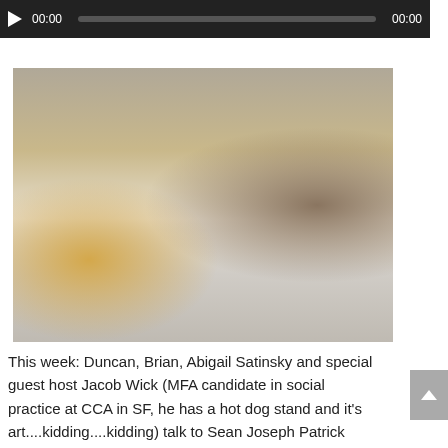[Figure (other): Audio media player bar with play button, time display 00:00, progress bar, and end time 00:00 on dark background]
download
[Figure (photo): A person in dark clothing doing a horizontal plank or Superman pose above a hotel bed with white pillows and bedding, wooden headboard, and a lamp on the left nightstand]
This week: Duncan, Brian, Abigail Satinsky and special guest host Jacob Wick (MFA candidate in social practice at CCA in SF, he has a hot dog stand and it's art....kidding....kidding) talk to Sean Joseph Patrick Carney about @socialmalpractice, Fuck James Franco and more more more! Everyone gets silly, editing was exciting. After that